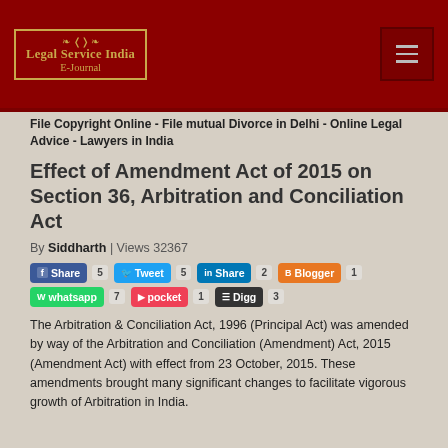Legal Service India E-Journal
File Copyright Online - File mutual Divorce in Delhi - Online Legal Advice - Lawyers in India
Effect of Amendment Act of 2015 on Section 36, Arbitration and Conciliation Act
By Siddharth | Views 32367
[Figure (infographic): Social share buttons: Facebook Share 5, Tweet 5, LinkedIn Share 2, Blogger 1, WhatsApp 7, pocket 1, Digg 3]
The Arbitration & Conciliation Act, 1996 (Principal Act) was amended by way of the Arbitration and Conciliation (Amendment) Act, 2015 (Amendment Act) with effect from 23 October, 2015. These amendments brought many significant changes to facilitate vigorous growth of Arbitration in India.